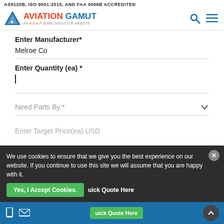AS9120B, ISO 9001:2015, AND FAA 0056B ACCREDITED
[Figure (logo): Aviation Gamut logo - triangle icon with red and blue text, AN A.S.A.P SEMICONDUCTOR WEBSITE subtitle, search and hamburger menu icons on right]
Enter Manufacturer*
Melroe Co
Enter Quantity (ea) *
Need Parts By *
Enter Target Price(ea) USD
NSN
We use cookies to ensure that we give you the best experience on our website. If you continue to use this site we will assume that you are happy with it.
Yes, I Accept Cookies.
uick Quote Here